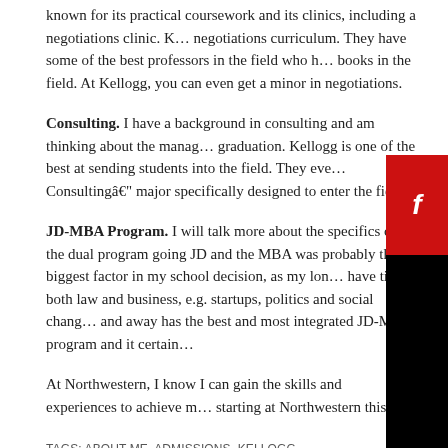known for its practical coursework and its clinics, including a negotiations clinic. Kellogg has one of the best negotiations curriculum. They have some of the best professors in the field who have written many of the best books in the field. At Kellogg, you can even get a minor in negotiations.
Consulting. I have a background in consulting and am thinking about the management consulting field after graduation. Kellogg is one of the best at sending students into the field. They even have a Consultingâ¦ major specifically designed to enter the field.
JD-MBA Program. I will talk more about the specifics of the dual program going forward. Combining the JD and the MBA was probably the biggest factor in my school decision, as my long-term goals tend to have ties to both law and business, e.g. startups, politics and social change, etc. Northwestern by far and away has the best and most integrated JD-MBA program and it certainly showed in my visits.
At Northwestern, I know I can gain the skills and experiences to achieve my goals, and I'm excited to be starting at Northwestern this fall.
TAGS: ABOUT ME, ADMISSIONS, KELLOGG
WEDNESDAY, JUNE 17TH, 2009  BUSINESS SCHOOL  NO COMMENTS